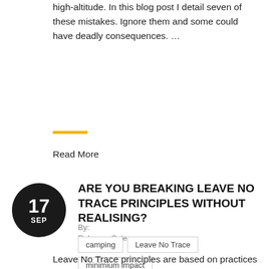high-altitude. In this blog post I detail seven of these mistakes. Ignore them and some could have deadly consequences.    …
Read More
17 SEP
ARE YOU BREAKING LEAVE NO TRACE PRINCIPLES WITHOUT REALISING?
By:
Rebecca Coles
camping
Leave No Trace
minimium impact
wilderness
Leave No Trace principles are based on practices which minimise impact on the environment and are also